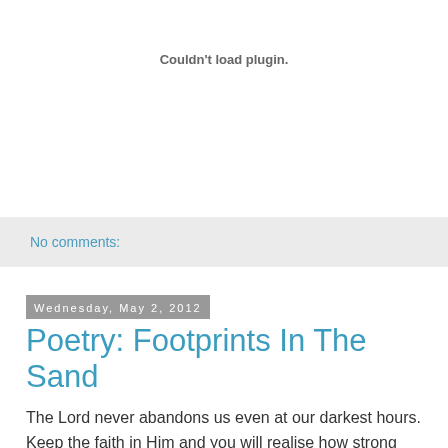Couldn't load plugin.
No comments:
Wednesday, May 2, 2012
Poetry: Footprints In The Sand
The Lord never abandons us even at our darkest hours. Keep the faith in Him and you will realise how strong you had become to overcome your plight. Question not His absence when you have walked through the tunnel of darkness ... how would you have found the open door had it not for His guiding light in the first place.